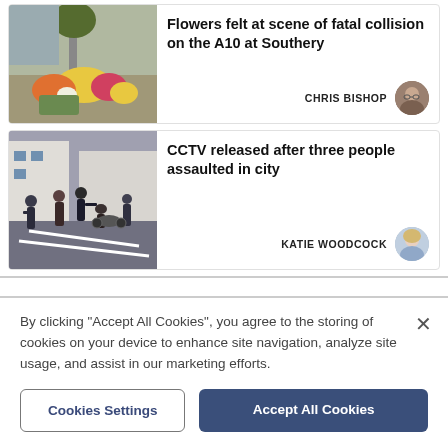[Figure (photo): Flowers (bouquets of yellow and mixed flowers) left at roadside scene]
Flowers felt at scene of fatal collision on the A10 at Southery
CHRIS BISHOP
[Figure (photo): CCTV screenshot showing multiple people on a street, some in confrontation]
CCTV released after three people assaulted in city
KATIE WOODCOCK
By clicking "Accept All Cookies", you agree to the storing of cookies on your device to enhance site navigation, analyze site usage, and assist in our marketing efforts.